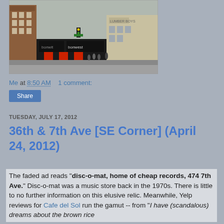[Figure (photo): Street corner photo showing multi-story brick buildings in New York City with storefronts including a dark-awning bar/restaurant and a Bonwest sign, people walking on the sidewalk, traffic lights visible.]
Me at 8:50 AM    1 comment:
Share
TUESDAY, JULY 17, 2012
36th & 7th Ave [SE Corner] (April 24, 2012)
The faded ad reads "disc-o-mat, home of cheap records, 474 7th Ave." Disc-o-mat was a music store back in the 1970s. There is little to no further information on this elusive relic. Meanwhile, Yelp reviews for Cafe del Sol run the gamut -- from "I have (scandalous) dreams about the brown rice